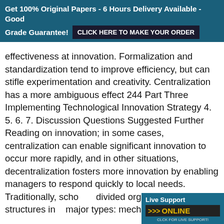Get 100% Original Papers - 6 Hours Delivery Available - Good Grade Guarantee! CLICK HERE TO MAKE YOUR ORDER
effectiveness at innovation. Formalization and standardization tend to improve efficiency, but can stifle experimentation and creativity. Centralization has a more ambiguous effect 244 Part Three Implementing Technological Innovation Strategy 4. 5. 6. 7. Discussion Questions Suggested Further Reading on innovation; in some cases, centralization can enable significant innovation to occur more rapidly, and in other situations, decentralization fosters more innovation by enabling managers to respond quickly to local needs. Traditionally, scholars divided organization structures into major types: mechanistic structu...